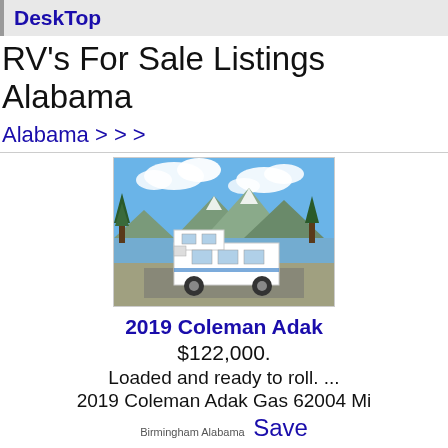DeskTop
RV's For Sale Listings Alabama
Alabama > > >
[Figure (photo): A white class C motorhome (2019 Coleman Adak) parked near a mountain lake with blue sky and clouds, trees in background.]
2019 Coleman Adak
$122,000.
Loaded and ready to roll. ...
2019 Coleman Adak Gas 62004 Mi
Birmingham Alabama Save
View Details